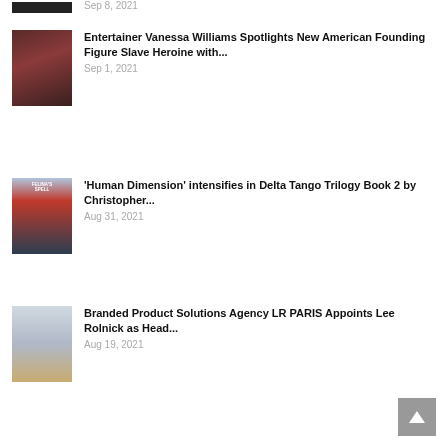Sep 8, 2021
[Figure (photo): Partial thumbnail image at top]
Entertainer Vanessa Williams Spotlights New American Founding Figure Slave Heroine with...
Sep 1, 2021
[Figure (photo): Book cover: Felina's Spell]
'Human Dimension' intensifies in Delta Tango Trilogy Book 2 by Christopher...
Aug 31, 2021
[Figure (photo): Product photo: branded plaid items]
Branded Product Solutions Agency LR PARIS Appoints Lee Rolnick as Head...
Aug 19, 2021